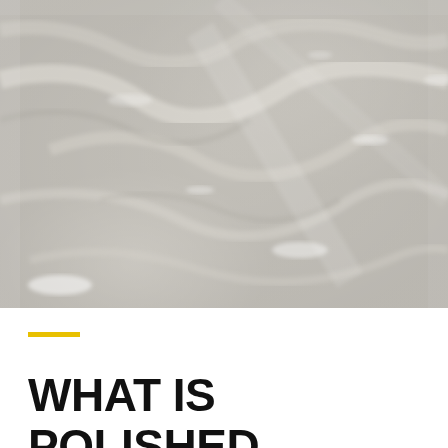[Figure (photo): Close-up photograph of a shiny, polished concrete or marble floor surface with a grey, mottled appearance and reflective highlights.]
WHAT IS POLISHED